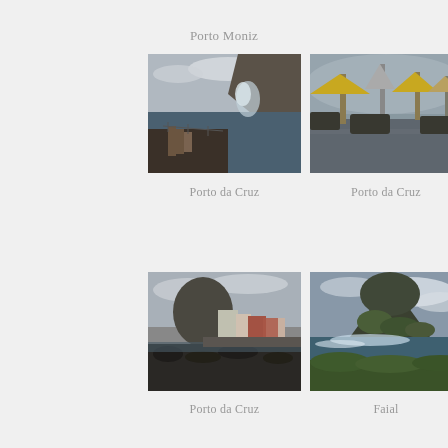Porto Moniz
[Figure (photo): Coastal scene with rough waves, rocky cliffs, and a wooden stairway along the shore at Porto da Cruz, Madeira. Overcast sky.]
[Figure (photo): Rainy outdoor restaurant terrace with yellow and grey closed umbrellas on a wet wooden deck, misty mountains in the background at Porto da Cruz.]
Porto da Cruz
Porto da Cruz
[Figure (photo): Coastal village of Porto da Cruz with black rocky shoreline, small buildings with red accents, and cloudy sky.]
[Figure (photo): Dramatic coastal landscape at Faial with a large rocky promontory, crashing waves, and green vegetation under a cloudy sky.]
Porto da Cruz
Faial